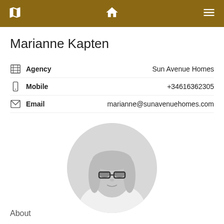Navigation bar with map, home, and menu icons
Marianne Kapten
Agency: Sun Avenue Homes
Mobile: +34616362305
Email: marianne@sunavenuehomes.com
[Figure (photo): Black and white circular profile photo of a woman with glasses and shoulder-length hair wearing a white shirt]
About